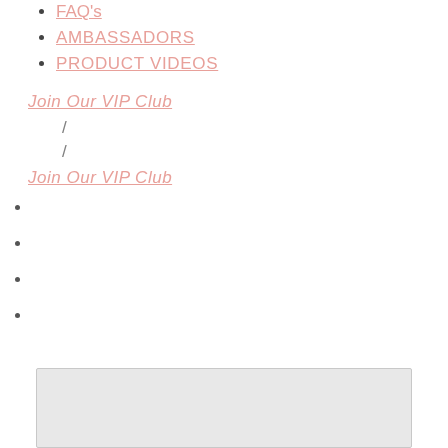FAQ's
AMBASSADORS
PRODUCT VIDEOS
Join Our VIP Club
/
/
Join Our VIP Club
[Figure (other): Gray placeholder box with light border]